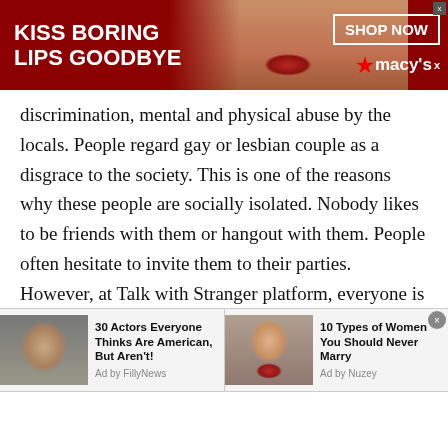[Figure (other): Macy's advertisement banner: red background with woman's face, text 'KISS BORING LIPS GOODBYE', 'SHOP NOW' button, Macy's star logo]
discrimination, mental and physical abuse by the locals. People regard gay or lesbian couple as a disgrace to the society. This is one of the reasons why these people are socially isolated. Nobody likes to be friends with them or hangout with them. People often hesitate to invite them to their parties. However, at Talk with Stranger platform, everyone is treated equally. No one is given priority or less priority based on their gender. If you are a gay or a lesbian, then you can easily connect with the people
[Figure (other): Bottom ad bar with two sponsored content items: '30 Actors Everyone Thinks Are American, But Aren't!' by FillyNews, and '10 Types of Women You Should Never Marry' by Nuzey. Each has a thumbnail photo.]